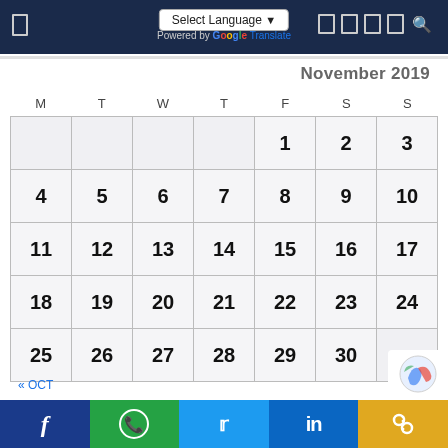Select Language ▾ | Powered by Google Translate
November 2019
| M | T | W | T | F | S | S |
| --- | --- | --- | --- | --- | --- | --- |
|  |  |  |  | 1 | 2 | 3 |
| 4 | 5 | 6 | 7 | 8 | 9 | 10 |
| 11 | 12 | 13 | 14 | 15 | 16 | 17 |
| 18 | 19 | 20 | 21 | 22 | 23 | 24 |
| 25 | 26 | 27 | 28 | 29 | 30 |  |
« OCT
DEC »
Facebook | WhatsApp | Twitter | LinkedIn | Link